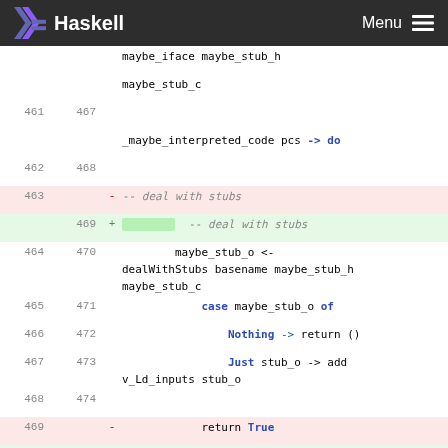Haskell | Menu
[Figure (screenshot): Haskell code diff view showing lines 461-477 (old) and 467-477 (new), with additions in green and deletions in red. Code shows Haskell function with maybe_stub handling, case expressions, Nothing/Just patterns, and let bindings.]